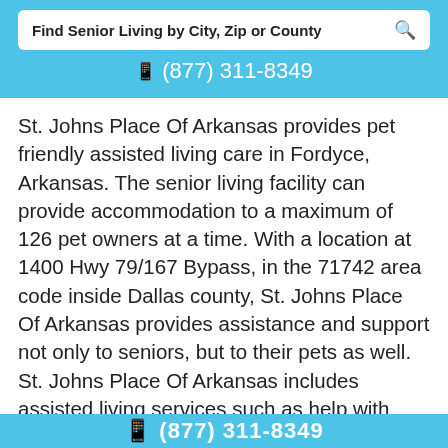Find Senior Living by City, Zip or County
(877) 311-8349
St. Johns Place Of Arkansas provides pet friendly assisted living care in Fordyce, Arkansas. The senior living facility can provide accommodation to a maximum of 126 pet owners at a time. With a location at 1400 Hwy 79/167 Bypass, in the 71742 area code inside Dallas county, St. Johns Place Of Arkansas provides assistance and support not only to seniors, but to their pets as well. St. Johns Place Of Arkansas includes assisted living services such as help with taking a bath, getting dressed and individual care plans.
(877) 311-8349